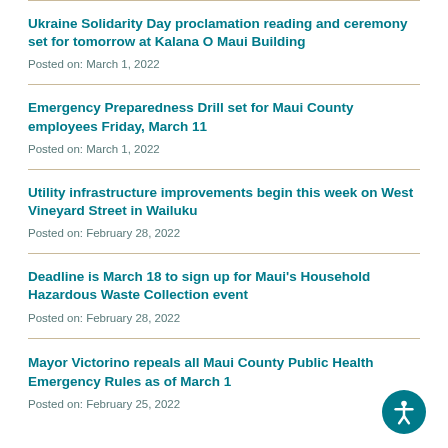Ukraine Solidarity Day proclamation reading and ceremony set for tomorrow at Kalana O Maui Building
Posted on: March 1, 2022
Emergency Preparedness Drill set for Maui County employees Friday, March 11
Posted on: March 1, 2022
Utility infrastructure improvements begin this week on West Vineyard Street in Wailuku
Posted on: February 28, 2022
Deadline is March 18 to sign up for Maui's Household Hazardous Waste Collection event
Posted on: February 28, 2022
Mayor Victorino repeals all Maui County Public Health Emergency Rules as of March 1
Posted on: February 25, 2022